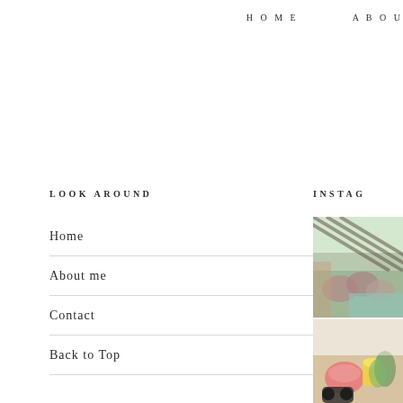HOME   ABOU
LOOK AROUND
Home
About me
Contact
Back to Top
INSTAG
[Figure (photo): Outdoor garden/patio area with flowers and plants, pergola with striped shadows]
[Figure (photo): Table with food/drinks including a bowl and beverages]